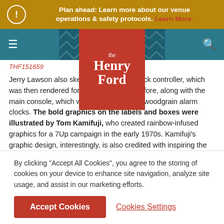Plan ahead: Learn more about our venue operations & safety protocols. Learn More.
[Figure (logo): The Henry Ford museum logo — white text on red/brown square background]
THF151659
Jerry Lawson also sketched the unique stick controller, which was then rendered for production by Talesfore, along with the main console, which was inspired by faux woodgrain alarm clocks. The bold graphics on the labels and boxes were illustrated by Tom Kamifuji, who created rainbow-infused graphics for a 7Up campaign in the early 1970s. Kamifuji's graphic design, interestingly, is also credited with inspiring the rainbow version of the Apple Computers logo.
By clicking "Accept All Cookies", you agree to the storing of cookies on your device to enhance site navigation, analyze site usage, and assist in our marketing efforts.
Accept Cookies
Cookies Settings